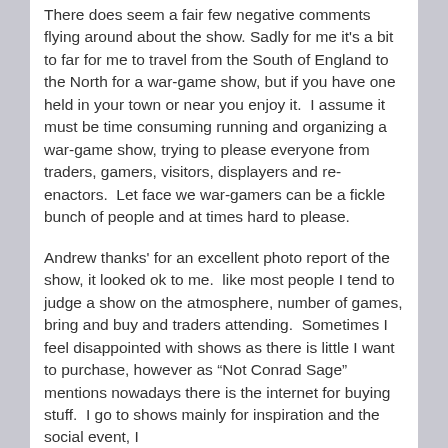There does seem a fair few negative comments flying around about the show. Sadly for me it's a bit to far for me to travel from the South of England to the North for a war-game show, but if you have one held in your town or near you enjoy it.  I assume it must be time consuming running and organizing a war-game show, trying to please everyone from traders, gamers, visitors, displayers and re-enactors.  Let face we war-gamers can be a fickle bunch of people and at times hard to please.
Andrew thanks' for an excellent photo report of the show, it looked ok to me.  like most people I tend to judge a show on the atmosphere, number of games, bring and buy and traders attending.  Sometimes I feel disappointed with shows as there is little I want to purchase, however as “Not Conrad Sage” mentions nowadays there is the internet for buying stuff.  I go to shows mainly for inspiration and the social event, I